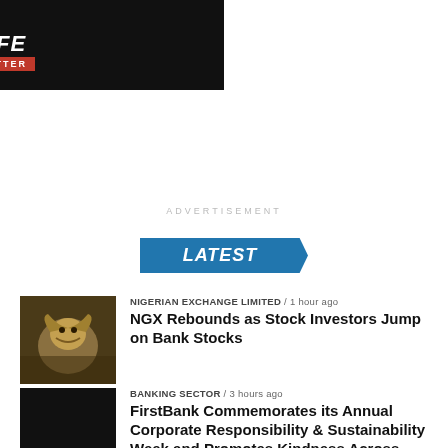[Figure (photo): Dark advertisement banner for 'Beta Life' promo with text 'BIGGER & BETTER' on a red ribbon, stylized script font over dark background with a person in background]
ADVERTISEMENT
[Figure (infographic): LATEST badge in blue with italic bold white text on a chevron/arrow shaped blue banner]
NIGERIAN EXCHANGE LIMITED / 1 hour ago
NGX Rebounds as Stock Investors Jump on Bank Stocks
[Figure (photo): Photo of a golden bull statue (Wall Street charging bull) against a blurred background]
BANKING SECTOR / 3 hours ago
FirstBank Commemorates its Annual Corporate Responsibility & Sustainability Week and Promotes Kindness Across Over 7 Countries
[Figure (photo): Dark/black thumbnail image for FirstBank article]